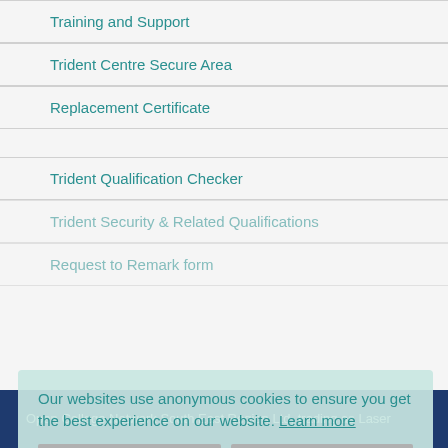Training and Support
Trident Centre Secure Area
Replacement Certificate
Trident Qualification Checker
Trident Security & Related Qualifications
Request to Remark form
Our websites use anonymous cookies to ensure you get the best experience on our website. Learn more
Decline cookies    Accept
Open College Network South East Region Ltd, trading as Laser